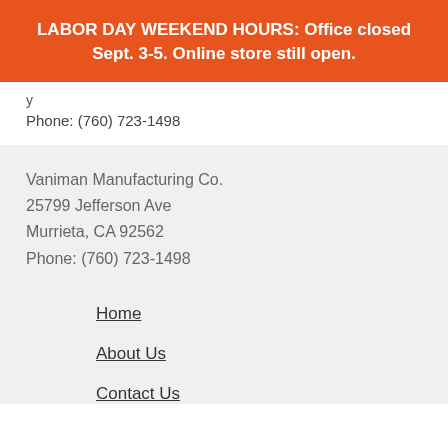LABOR DAY WEEKEND HOURS: Office closed Sept. 3-5. Online store still open.
Phone: (760) 723-1498
Vaniman Manufacturing Co.
25799 Jefferson Ave
Murrieta, CA 92562
Phone: (760) 723-1498
Home
About Us
Contact Us